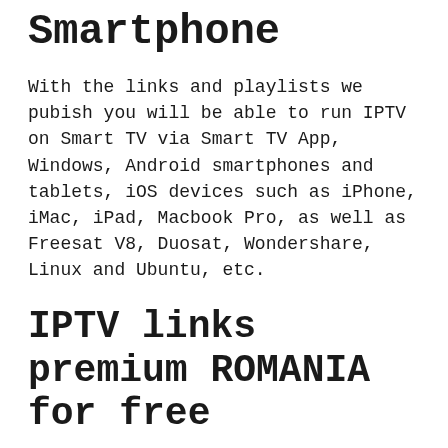Smartphone
With the links and playlists we pubish you will be able to run IPTV on Smart TV via Smart TV App, Windows, Android smartphones and tablets, iOS devices such as iPhone, iMac, iPad, Macbook Pro, as well as Freesat V8, Duosat, Wondershare, Linux and Ubuntu, etc.
IPTV links premium ROMANIA for free
Bookmark It!
Remember: iptv free links do not last for